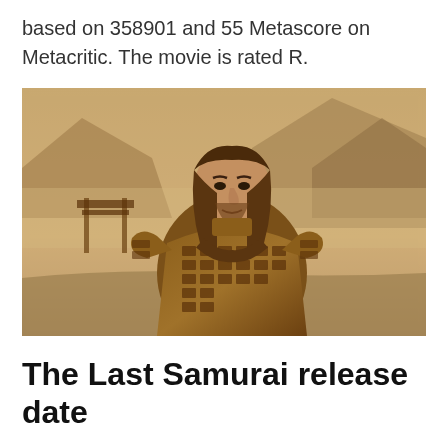based on 358901 and 55 Metascore on Metacritic. The movie is rated R.
[Figure (photo): A man in samurai armor with long brown hair stands in a misty landscape with mountains and a torii gate visible in the background. The scene has warm, sepia-golden tones.]
The Last Samurai release date